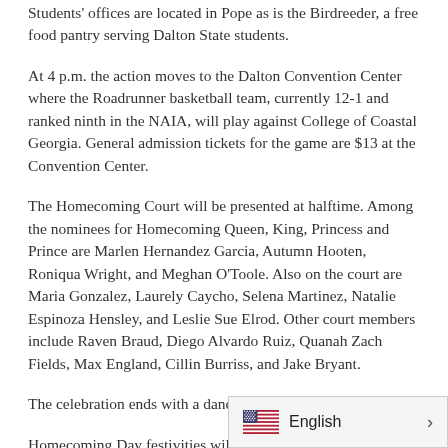Students' offices are located in Pope as is the Birdreeder, a free food pantry serving Dalton State students.
At 4 p.m. the action moves to the Dalton Convention Center where the Roadrunner basketball team, currently 12-1 and ranked ninth in the NAIA, will play against College of Coastal Georgia. General admission tickets for the game are $13 at the Convention Center.
The Homecoming Court will be presented at halftime. Among the nominees for Homecoming Queen, King, Princess and Prince are Marlen Hernandez Garcia, Autumn Hooten, Roniqua Wright, and Meghan O'Toole. Also on the court are Maria Gonzalez, Laurely Caycho, Selena Martinez, Natalie Espinoza Hensley, and Leslie Sue Elrod. Other court members include Raven Braud, Diego Alvardo Ruiz, Quanah Zach Fields, Max England, Cillin Burriss, and Jake Bryant.
The celebration ends with a dance for students.
Homecoming Day festivities will be